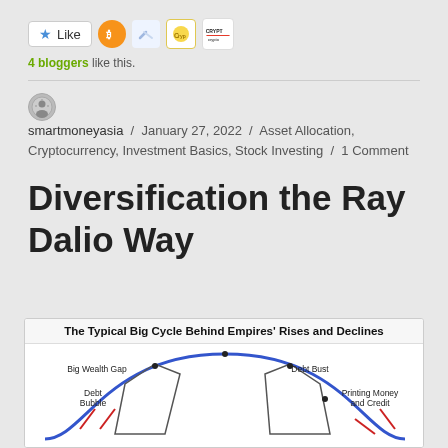[Figure (other): Like button with star icon, Bitcoin icon, and other crypto/blog icons]
4 bloggers like this.
smartmoneyasia / January 27, 2022 / Asset Allocation, Cryptocurrency, Investment Basics, Stock Investing / 1 Comment
Diversification the Ray Dalio Way
[Figure (other): The Typical Big Cycle Behind Empires' Rises and Declines - diagram showing a bell curve with labels: Big Wealth Gap, Debt Bubble, Debt Bust, Printing Money and Credit, with blue arc and red arrows]